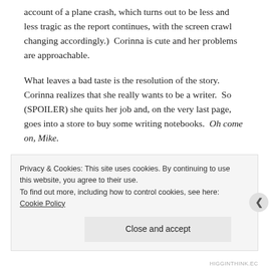account of a plane crash, which turns out to be less and less tragic as the report continues, with the screen crawl changing accordingly.)  Corinna is cute and her problems are approachable.
What leaves a bad taste is the resolution of the story. Corinna realizes that she really wants to be a writer.  So (SPOILER) she quits her job and, on the very last page, goes into a store to buy some writing notebooks.  Oh come on, Mike.
When you're a teenager you can get away with
Privacy & Cookies: This site uses cookies. By continuing to use this website, you agree to their use.
To find out more, including how to control cookies, see here: Cookie Policy
Close and accept